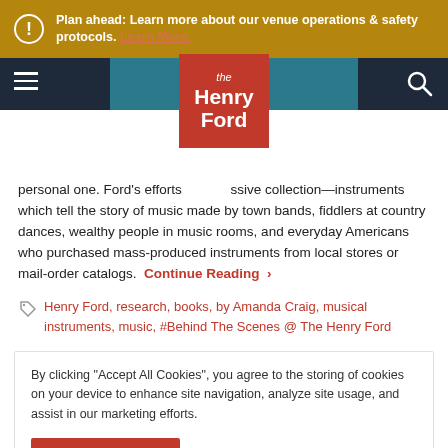Plan ahead: Learn more about our venue operations & safety protocols. Learn More.
[Figure (logo): The Henry Ford museum logo in red/orange square with navigation bar]
personal one. Ford's efforts [logo overlay] ssive collection—instruments which tell the story of music made by town bands, fiddlers at country dances, wealthy people in music rooms, and everyday Americans who purchased mass-produced instruments from local stores or mail-order catalogs. Continue Reading >
Henry Ford, research, books, by Amanda Craig, musical instruments, music, #Behind The Scenes @ The Henry Ford
By clicking "Accept All Cookies", you agree to the storing of cookies on your device to enhance site navigation, analyze site usage, and assist in our marketing efforts.
Accept Cookies | Cookies Settings